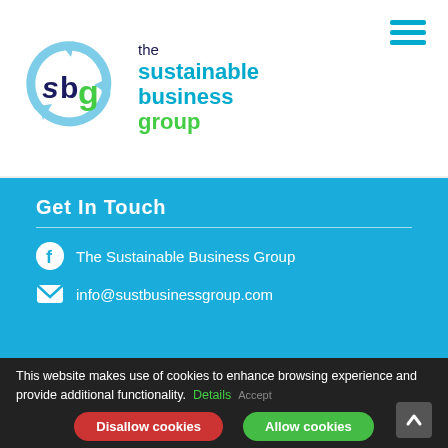[Figure (logo): The Sustainable Business Group logo with circular arrows icon and text]
Get In Touch
The Sustainable Business Group
info@sustbusinessgroup.com
Site Map | Privacy Policy | Cookie Policy
This website makes use of cookies to enhance browsing experience and provide additional functionality. Details Accept
Disallow cookies  Allow cookies